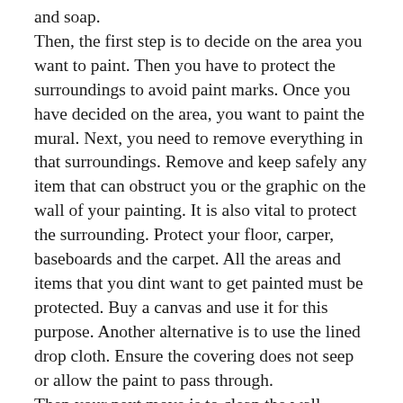and soap. Then, the first step is to decide on the area you want to paint. Then you have to protect the surroundings to avoid paint marks. Once you have decided on the area, you want to paint the mural. Next, you need to remove everything in that surroundings. Remove and keep safely any item that can obstruct you or the graphic on the wall of your painting. It is also vital to protect the surrounding. Protect your floor, carper, baseboards and the carpet. All the areas and items that you dint want to get painted must be protected. Buy a canvas and use it for this purpose. Another alternative is to use the lined drop cloth. Ensure the covering does not seep or allow the paint to pass through. Then your next move is to clean the wall properly. Your paint will do well on a clean wall. You can use water and some cleaning detergent like soap to